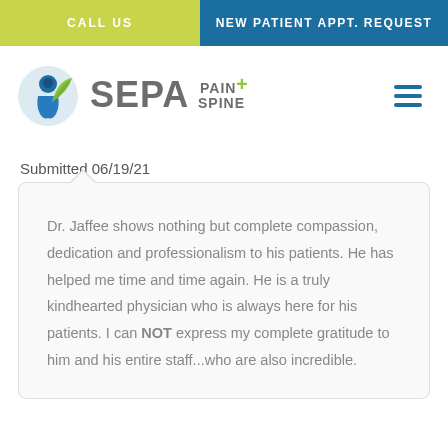CALL US | NEW PATIENT APPT. REQUEST
[Figure (logo): SEPA Pain + Spine logo with circular blue and green icon]
Submitted 06/19/21
Dr. Jaffee shows nothing but complete compassion, dedication and professionalism to his patients. He has helped me time and time again. He is a truly kindhearted physician who is always here for his patients. I can NOT express my complete gratitude to him and his entire staff...who are also incredible.